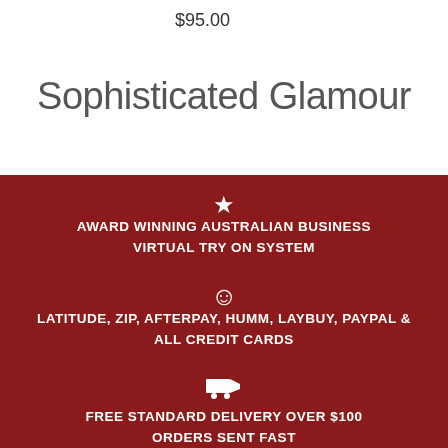$95.00
Sophisticated Glamour
★
AWARD WINNING AUSTRALIAN BUSINESS
VIRTUAL TRY ON SYSTEM
☺
LATITUDE, ZIP, AFTERPAY, HUMM, LAYBUY, PAYPAL &
ALL CREDIT CARDS
🚚
FREE STANDARD DELIVERY OVER $100
ORDERS SENT FAST